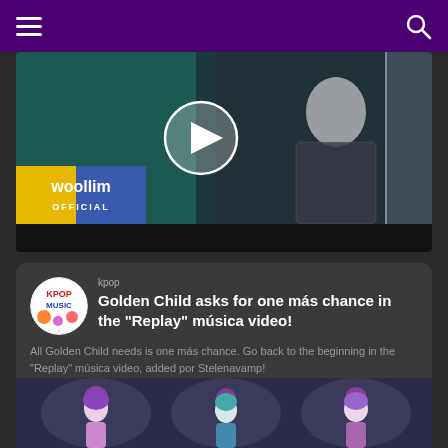Navigation bar with menu and search icons
[Figure (screenshot): Video thumbnail showing a person in a mesh top with Woollim Official branding overlay and a play button]
kpop
Golden Child asks for one más chance in the "Replay" música video!
All Golden Child needs is one más chance. Go back to the beginning in the "Replay" música video, added por Stelenavamp!
[Figure (screenshot): Bottom thumbnail showing animated mermaid-like characters with purple/teal hair in a fantasy setting]